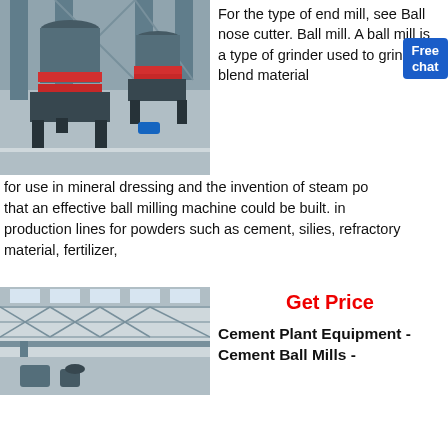[Figure (photo): Industrial ball mill machines in a factory setting, showing large dark grey cylindrical grinding machines with red accents on metal frames, inside an industrial facility.]
For the type of end mill, see Ball nose cutter. Ball mill. A ball mill is a type of grinder used to grind and blend materials for use in mineral dressing and the invention of steam po... that an effective ball milling machine could be built. in production lines for powders such as cement, silies, refractory material, fertilizer,
[Figure (photo): Interior of a large industrial warehouse or plant building showing steel framework, roof trusses with skylights, and heavy equipment.]
Get Price
Cement Plant Equipment - Cement Ball Mills -